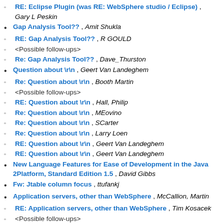RE: Eclipse Plugin (was RE: WebSphere studio / Eclipse) , Gary L Peskin
Gap Analysis Tool?? , Amit Shukla
RE: Gap Analysis Tool?? , R GOULD
<Possible follow-ups>
Re: Gap Analysis Tool?? , Dave_Thurston
Question about \r\n , Geert Van Landeghem
Re: Question about \r\n , Booth Martin
<Possible follow-ups>
RE: Question about \r\n , Hall, Philip
Re: Question about \r\n , MEovino
Re: Question about \r\n , SCarter
Re: Question about \r\n , Larry Loen
RE: Question about \r\n , Geert Van Landeghem
RE: Question about \r\n , Geert Van Landeghem
New Language Features for Ease of Development in the Java 2Platform, Standard Edition 1.5 , David Gibbs
Fw: Jtable column focus , ttufankj
Application servers, other than WebSphere , McCallion, Martin
RE: Application servers, other than WebSphere , Tim Kosacek
<Possible follow-ups>
RE: Application servers, other than WebSphere , McCallion, Martin